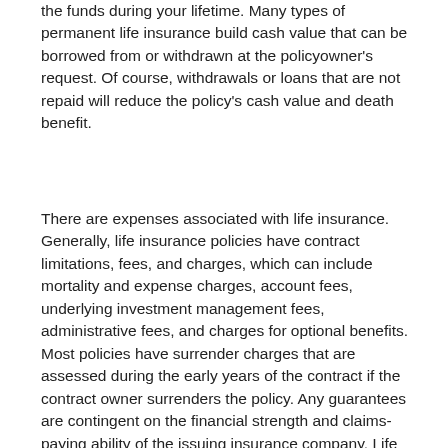the funds during your lifetime. Many types of permanent life insurance build cash value that can be borrowed from or withdrawn at the policyowner's request. Of course, withdrawals or loans that are not repaid will reduce the policy's cash value and death benefit.
There are expenses associated with life insurance. Generally, life insurance policies have contract limitations, fees, and charges, which can include mortality and expense charges, account fees, underlying investment management fees, administrative fees, and charges for optional benefits. Most policies have surrender charges that are assessed during the early years of the contract if the contract owner surrenders the policy. Any guarantees are contingent on the financial strength and claims-paying ability of the issuing insurance company. Life insurance is not guaranteed by the FDIC or any other government agency; it is not a deposit of, nor is it guaranteed or endorsed by, any